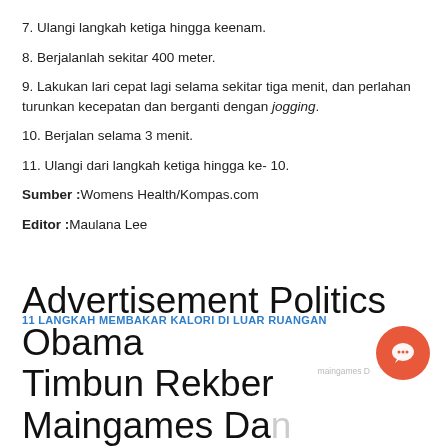7. Ulangi langkah ketiga hingga keenam.
8. Berjalanlah sekitar 400 meter.
9. Lakukan lari cepat lagi selama sekitar tiga menit, dan perlahan turunkan kecepatan dan berganti dengan jogging.
10. Berjalan selama 3 menit.
11. Ulangi dari langkah ketiga hingga ke- 10.
Sumber :Womens Health/Kompas.com
Editor :Maulana Lee
11 LANGKAH MEMBAKAR KALORI DI LUAR RUANGAN
Advertisement Politics Obama Timbun Rekber Maingames Dan...